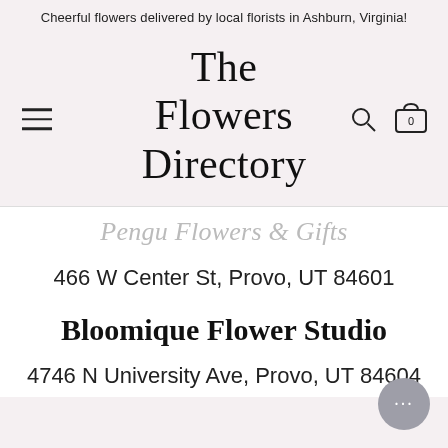Cheerful flowers delivered by local florists in Ashburn, Virginia!
The Flowers Directory
Pengu Flowers & Gifts
466 W Center St, Provo, UT 84601
Bloomique Flower Studio
4746 N University Ave, Provo, UT 84604